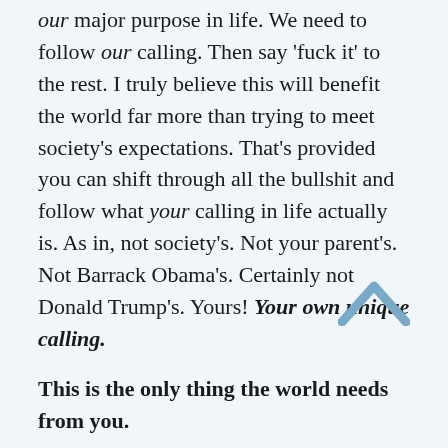our major purpose in life. We need to follow our calling. Then say 'fuck it' to the rest. I truly believe this will benefit the world far more than trying to meet society's expectations. That's provided you can shift through all the bullshit and follow what your calling in life actually is. As in, not society's. Not your parent's. Not Barrack Obama's. Certainly not Donald Trump's. Yours! Your own unique calling.
This is the only thing the world needs from you.
I think that you know this of course, the